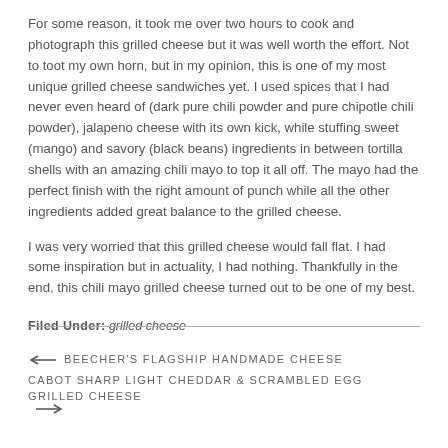For some reason, it took me over two hours to cook and photograph this grilled cheese but it was well worth the effort. Not to toot my own horn, but in my opinion, this is one of my most unique grilled cheese sandwiches yet. I used spices that I had never even heard of (dark pure chili powder and pure chipotle chili powder), jalapeno cheese with its own kick, while stuffing sweet (mango) and savory (black beans) ingredients in between tortilla shells with an amazing chili mayo to top it all off. The mayo had the perfect finish with the right amount of punch while all the other ingredients added great balance to the grilled cheese.
I was very worried that this grilled cheese would fall flat. I had some inspiration but in actuality, I had nothing. Thankfully in the end, this chili mayo grilled cheese turned out to be one of my best.
Filed Under: grilled cheese
← BEECHER'S FLAGSHIP HANDMADE CHEESE
CABOT SHARP LIGHT CHEDDAR & SCRAMBLED EGG GRILLED CHEESE →